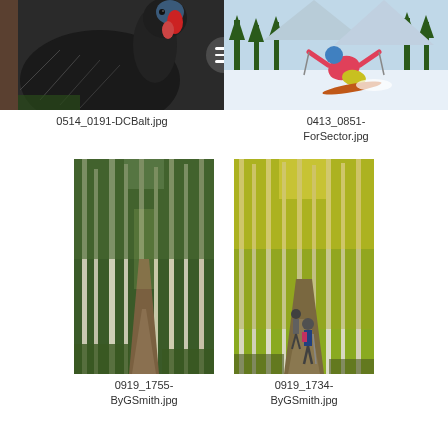[Figure (photo): Close-up photo of a dark wild turkey with colorful head wattles, feathers prominent]
0514_0191-DCBalt.jpg
[Figure (photo): Skier in pink jacket and yellow pants sitting on snowy slope, mountain trees in background]
0413_0851-ForSector.jpg
[Figure (photo): Forest path through tall aspen trees with green foliage and a dirt trail]
0919_1755-ByGSmith.jpg
[Figure (photo): Two hikers walking along a trail through golden autumn aspen forest]
0919_1734-ByGSmith.jpg